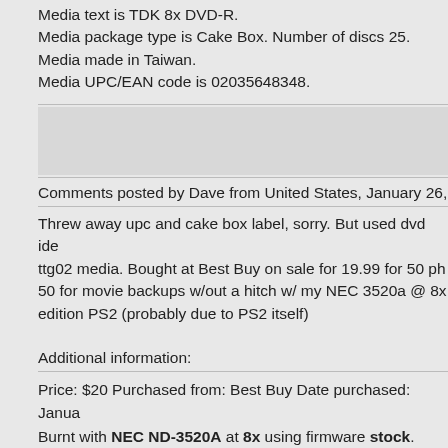Media text is TDK 8x DVD-R.
Media package type is Cake Box. Number of discs 25.
Media made in Taiwan.
Media UPC/EAN code is 02035648348.
Comments posted by Dave from United States, January 26,
Threw away upc and cake box label, sorry. But used dvd ide ttg02 media. Bought at Best Buy on sale for 19.99 for 50 ph 50 for movie backups w/out a hitch w/ my NEC 3520a @ 8x edition PS2 (probably due to PS2 itself)
Additional information:
Price: $20 Purchased from: Best Buy Date purchased: Janua Burnt with NEC ND-3520A at 8x using firmware stock.
Burning reliability is Good.
PC reliability is Good.